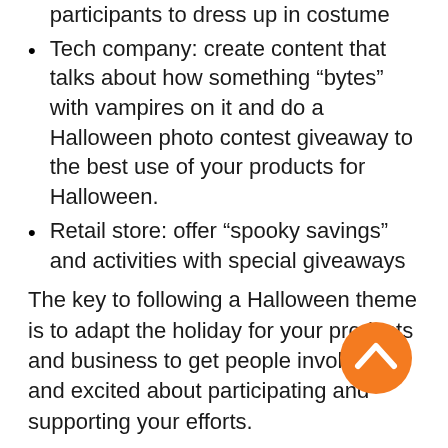participants to dress up in costume
Tech company: create content that talks about how something “bytes” with vampires on it and do a Halloween photo contest giveaway to the best use of your products for Halloween.
Retail store: offer “spooky savings” and activities with special giveaways
The key to following a Halloween theme is to adapt the holiday for your products and business to get people involved and excited about participating and supporting your efforts.
Use Video
Sharing a creative video via social media